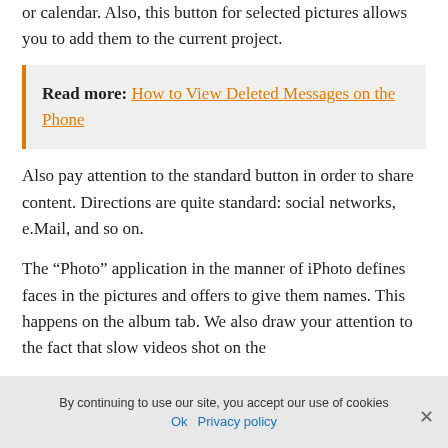or calendar. Also, this button for selected pictures allows you to add them to the current project.
Read more: How to View Deleted Messages on the Phone
Also pay attention to the standard button in order to share content. Directions are quite standard: social networks, e.Mail, and so on.
The “Photo” application in the manner of iPhoto defines faces in the pictures and offers to give them names. This happens on the album tab. We also draw your attention to the fact that slow videos shot on the
By continuing to use our site, you accept our use of cookies
Ok   Privacy policy